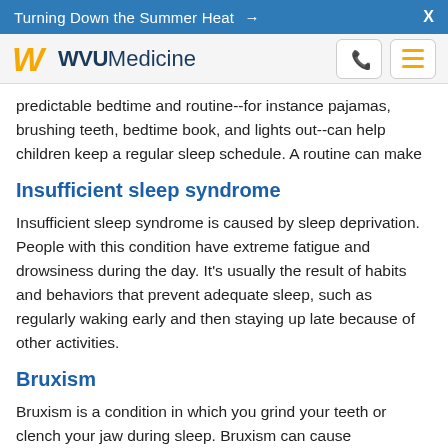Turning Down the Summer Heat →  X
[Figure (logo): WVU Medicine logo with gold flying WV and blue text, phone icon button and hamburger menu button]
predictable bedtime and routine--for instance pajamas, brushing teeth, bedtime book, and lights out--can help children keep a regular sleep schedule. A routine can make
Insufficient sleep syndrome
Insufficient sleep syndrome is caused by sleep deprivation. People with this condition have extreme fatigue and drowsiness during the day. It's usually the result of habits and behaviors that prevent adequate sleep, such as regularly waking early and then staying up late because of other activities.
Bruxism
Bruxism is a condition in which you grind your teeth or clench your jaw during sleep. Bruxism can cause